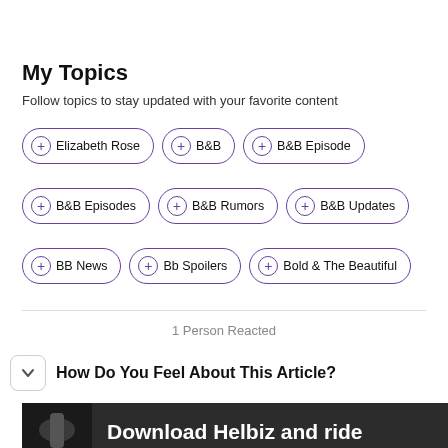My Topics
Follow topics to stay updated with your favorite content
Elizabeth Rose
B&B
B&B Episode
B&B Episodes
B&B Rumors
B&B Updates
BB News
Bb Spoilers
Bold & The Beautiful
1 Person Reacted
How Do You Feel About This Article?
[Figure (photo): Ad banner showing scooter handlebar with text 'Download Helbiz and ride']